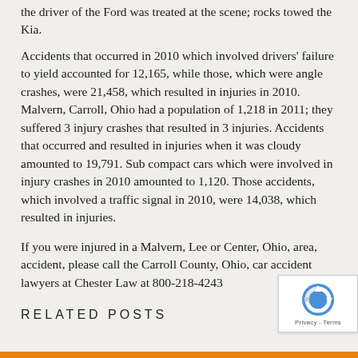the driver of the Ford was treated at the scene; rocks towed the Kia.
Accidents that occurred in 2010 which involved drivers' failure to yield accounted for 12,165, while those, which were angle crashes, were 21,458, which resulted in injuries in 2010. Malvern, Carroll, Ohio had a population of 1,218 in 2011; they suffered 3 injury crashes that resulted in 3 injuries. Accidents that occurred and resulted in injuries when it was cloudy amounted to 19,791. Sub compact cars which were involved in injury crashes in 2010 amounted to 1,120. Those accidents, which involved a traffic signal in 2010, were 14,038, which resulted in injuries.
If you were injured in a Malvern, Lee or Center, Ohio, area, accident, please call the Carroll County, Ohio, car accident lawyers at Chester Law at 800-218-4243
RELATED POSTS